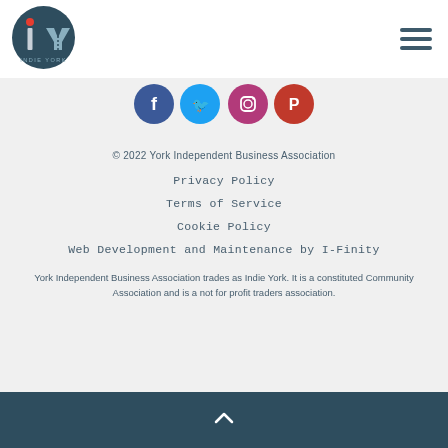[Figure (logo): Indie York circular logo with iY letters and text INDIE YORK on dark teal background]
[Figure (illustration): Hamburger menu icon with three horizontal dark lines]
[Figure (illustration): Four social media icons: Facebook (dark blue), Twitter (light blue), Instagram (purple/pink), Google/Pinterest (red)]
© 2022 York Independent Business Association
Privacy Policy
Terms of Service
Cookie Policy
Web Development and Maintenance by I-Finity
York Independent Business Association trades as Indie York. It is a constituted Community Association and is a not for profit traders association.
[Figure (illustration): White chevron/caret pointing up on dark teal background]